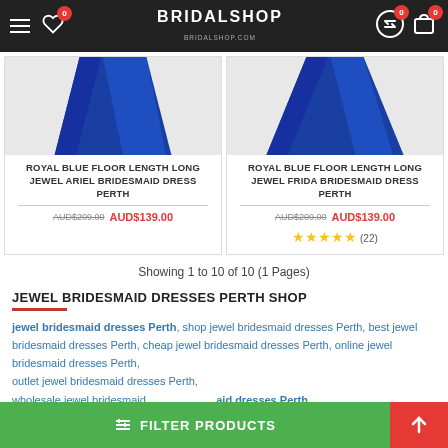BRIDALSHOP — Navigation bar with hamburger menu, wishlist, logo, exchange and cart icons
[Figure (photo): Royal Blue Floor Length Long Jewel Ariel Bridesmaid Dress Perth — blue dress product image]
ROYAL BLUE FLOOR LENGTH LONG JEWEL ARIEL BRIDESMAID DRESS PERTH
AUD$209.00  AUD$139.00
[Figure (photo): Royal Blue Floor Length Long Jewel Frida Bridesmaid Dress Perth — blue dress product image]
ROYAL BLUE FLOOR LENGTH LONG JEWEL FRIDA BRIDESMAID DRESS PERTH
AUD$209.00  AUD$139.00
★★★★★ (22)
Showing 1 to 10 of 10 (1 Pages)
JEWEL BRIDESMAID DRESSES PERTH SHOP
jewel bridesmaid dresses Perth, shop jewel bridesmaid dresses Perth, best jewel bridesmaid dresses Perth, cheap jewel bridesmaid dresses Perth, online jewel bridesmaid dresses Perth, outlet jewel bridesmaid dresses Perth, wholesale jewel bridesmaid dresses Perth, Wedding Shop Perth